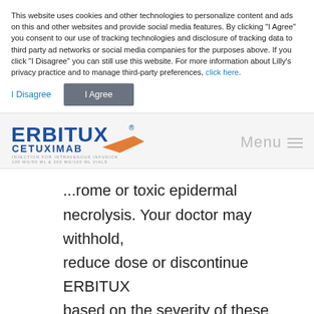This website uses cookies and other technologies to personalize content and ads on this and other websites and provide social media features. By clicking "I Agree" you consent to our use of tracking technologies and disclosure of tracking data to third party ad networks or social media companies for the purposes above. If you click "I Disagree" you can still use this website. For more information about Lilly's privacy practice and to manage third-party preferences, click here.
[Figure (logo): Erbitux Cetuximab logo - injection for intravenous infusion 100mg/50mL & 200mg/100mL vials]
...rome or toxic epidermal necrolysis. Your doctor may withhold, reduce dose or discontinue ERBITUX based on the severity of these symptoms.
Notify your doctor if you develop any of these symptoms while receiving